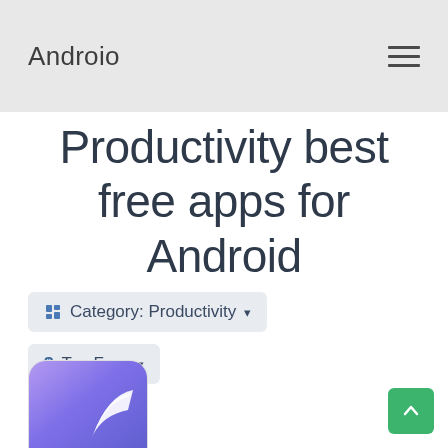Androio
Productivity best free apps for Android
Category: Productivity ▾
$ Top Free ▾
[Figure (illustration): Partially visible app icon with purple/violet gradient background and white feather/swoosh design at bottom of page]